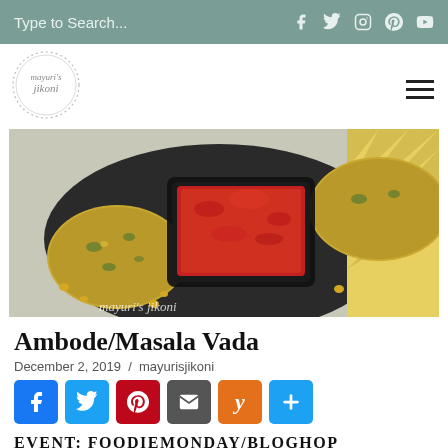Type to Search...  [social icons: Facebook, Twitter, Instagram, Pinterest, YouTube]
[Figure (logo): Mayuri's Jikoni circular logo with decorative border]
[Figure (photo): Overhead photo of Ambode/Masala Vada patties on a dark plate with red chutney in a black square bowl, garnished with chana dal, on a light wooden surface with yellow napkin]
Ambode/Masala Vada
December 2, 2019 / mayurisjikoni
[Figure (infographic): Social share buttons: Facebook, Twitter, Pinterest, Email, Yummly, AddThis]
EVENT: FOODIEMONDAY/BLOGHOP